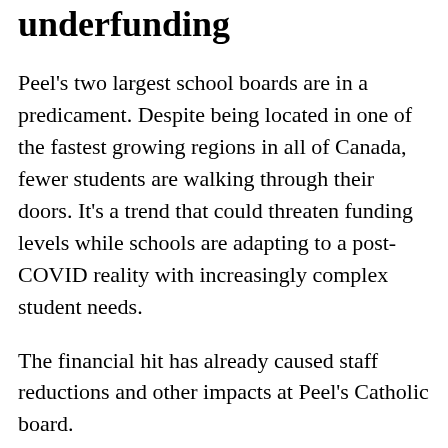underfunding
Peel's two largest school boards are in a predicament. Despite being located in one of the fastest growing regions in all of Canada, fewer students are walking through their doors. It's a trend that could threaten funding levels while schools are adapting to a post-COVID reality with increasingly complex student needs.
The financial hit has already caused staff reductions and other impacts at Peel's Catholic board.